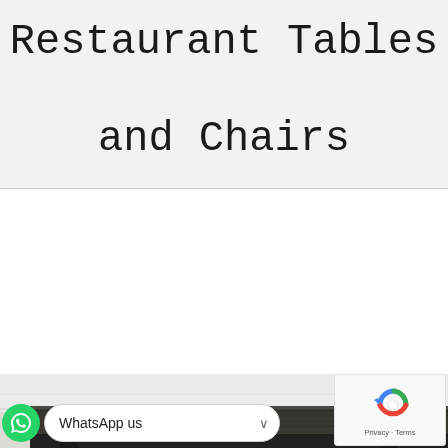Restaurant Tables and Chairs
[Figure (photo): A rustic wooden restaurant table with a dark weathered surface, photographed against a white/grey concrete wall background, viewed from a low angle showing the table top edge.]
WhatsApp us
[Figure (other): reCAPTCHA logo with Privacy and Terms links]